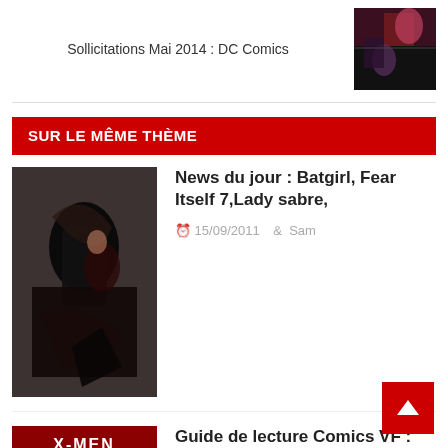Sollicitations Mai 2014 : DC Comics
SUR LE MÊME THÈME
News du jour : Batgirl, Fear Itself 7,Lady sabre,
15/09/2011   Sam
[Figure (photo): Comic book cover with dark superhero figures]
Guide de lecture Comics VF : semaine du 7 novembre 2011- Kiosque
07/11/2011   Sam
[Figure (photo): X-Men comic book cover with female character in red]
[Figure (photo): DC Comics cover art thumbnail top right]